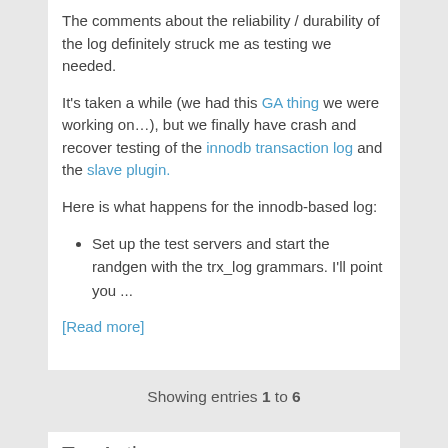The comments about the reliability / durability of the log definitely struck me as testing we needed.
It's taken a while (we had this GA thing we were working on…), but we finally have crash and recover testing of the innodb transaction log and the slave plugin.
Here is what happens for the innodb-based log:
Set up the test servers and start the randgen with the trx_log grammars.  I'll point you ...
[Read more]
Showing entries 1 to 6
Top Authors
Joshua Otwell (21)
Frederic Descamps (8)